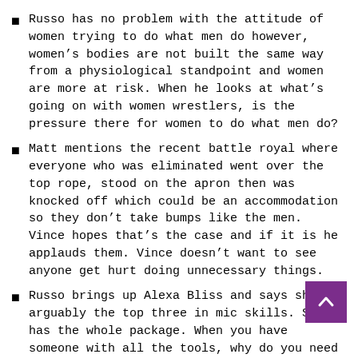Russo has no problem with the attitude of women trying to do what men do however, women's bodies are not built the same way from a physiological standpoint and women are more at risk. When he looks at what's going on with women wrestlers, is the pressure there for women to do what men do?
Matt mentions the recent battle royal where everyone who was eliminated went over the top rope, stood on the apron then was knocked off which could be an accommodation so they don't take bumps like the men. Vince hopes that's the case and if it is he applauds them. Vince doesn't want to see anyone get hurt doing unnecessary things.
Russo brings up Alexa Bliss and says she is arguably the top three in mic skills. She has the whole package. When you have someone with all the tools, why do you need her to wrestle like everyone else?
Vince thinks many of these injuries are due to press. When wrestlers talk about their matches, they can get